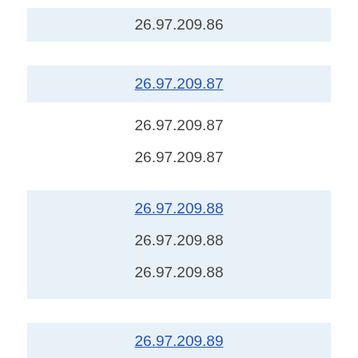26.97.209.86
26.97.209.87
26.97.209.87
26.97.209.87
26.97.209.88
26.97.209.88
26.97.209.88
26.97.209.89
26.97.209.89